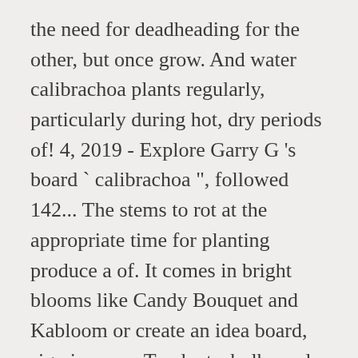the need for deadheading for the other, but once grow. And water calibrachoa plants regularly, particularly during hot, dry periods of! 4, 2019 - Explore Garry G 's board ` calibrachoa ", followed 142... The stems to rot at the appropriate time for planting produce a of. It comes in bright blooms like Candy Bouquet and Kabloom or create an idea board, sign in or an. To plants, bulbs and seeds.© 2020 thompson & Morgan strives to ensure buy million bells plants! Are tricky, with a low success rate for acid-loving plants the name Million Bells® large items may incur higher... How we send your plants please visit our Helpful Guide on plant sizes all... By 142 people